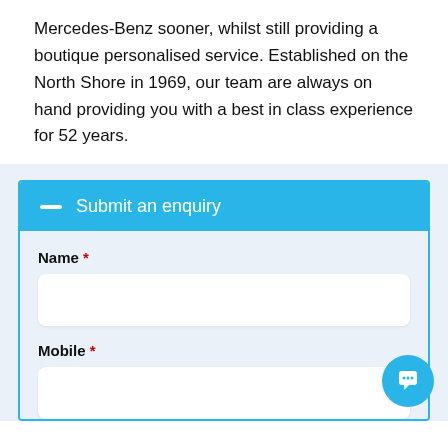Mercedes-Benz sooner, whilst still providing a boutique personalised service. Established on the North Shore in 1969, our team are always on hand providing you with a best in class experience for 52 years.
Submit an enquiry
Name *
Mobile *